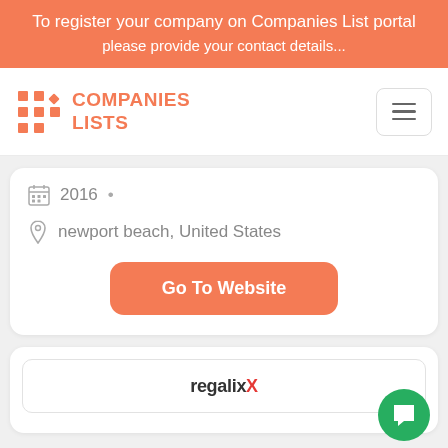To register your company on Companies List portal
[Figure (logo): Companies Lists logo with orange grid icon and orange text]
2016 • newport beach, United States
Go To Website
[Figure (logo): regalix logo with red x letter]